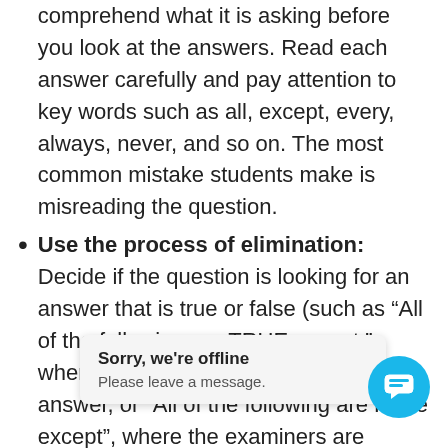Read each question twice in order to fully comprehend what it is asking before you look at the answers. Read each answer carefully and pay attention to key words such as all, except, every, always, never, and so on. The most common mistake students make is misreading the question.
Use the process of elimination: Decide if the question is looking for an answer that is true or false (such as “All of the following are TRUE except,” where the examiners want the false answer, or “All of the following are False except”, where the examiners are looking for the true answer). Eliminate choices you know are wrong and then select what you believe to be b...